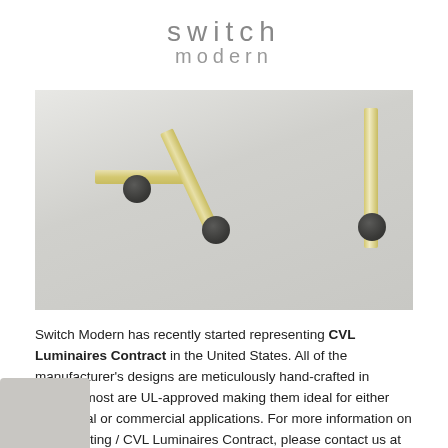[Figure (logo): Switch Modern logo — 'switch' in large light gray spaced letters above 'modern' in smaller gray spaced letters]
[Figure (photo): Three wall-mounted light fixtures (sconces) against a light gray wall. Left: horizontal gold/brass arm with dark circular mount. Center: diagonal gold/brass arm angled upward with dark circular mount. Right: vertical gold/brass arm with dark circular mount.]
Switch Modern has recently started representing CVL Luminaires Contract in the United States. All of the manufacturer's designs are meticulously hand-crafted in France; most are UL-approved making them ideal for either residential or commercial applications. For more information on CVL Lighting / CVL Luminaires Contract, please contact us at 404-